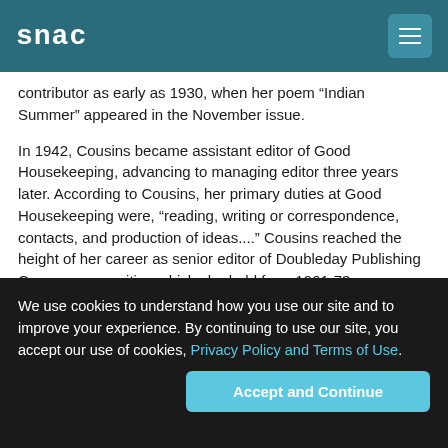snac
contributor as early as 1930, when her poem “Indian Summer” appeared in the November issue.
In 1942, Cousins became assistant editor of Good Housekeeping, advancing to managing editor three years later. According to Cousins, her primary duties at Good Housekeeping were, “reading, writing or correspondence, contacts, and production of ideas....” Cousins reached the height of her career as senior editor of Doubleday Publishing Company, a position which she held from 1961-73.
As an editor, Cousins perceived herself not only as a manager, but also as a role model for her reading public. Keenly aware of the power of the press in influencing public values, she sought to “live in a manner worthy of emulation.”
We use cookies to understand how you use our site and to improve your experience. By continuing to use our site, you accept our use of cookies, Privacy Policy and Terms of Use.